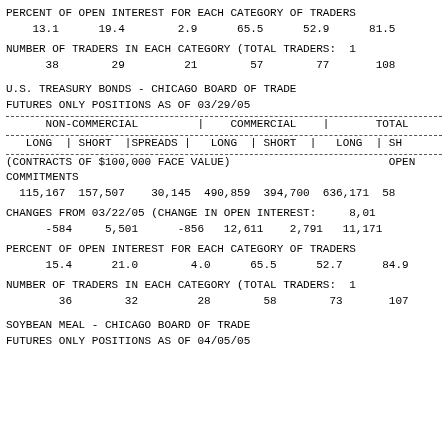PERCENT OF OPEN INTEREST FOR EACH CATEGORY OF TRADERS
    13.1      19.4        2.9      65.5      52.9      81.5
NUMBER OF TRADERS IN EACH CATEGORY (TOTAL TRADERS:  1
      38        29         21        57        77       108
U.S. TREASURY BONDS - CHICAGO BOARD OF TRADE
FUTURES ONLY POSITIONS AS OF 03/29/05
| NON-COMMERCIAL | COMMERCIAL | TOTAL |
| --- | --- | --- |
| LONG | SHORT |SPREADS | | LONG | SHORT | | LONG | SH |
| (CONTRACTS OF $100,000 FACE VALUE) |  | OPEN |
| COMMITMENTS |  |  |
| 115,167  157,507    30,145  490,859  394,700  636,171  58 |  |  |
| CHANGES FROM 03/22/05 (CHANGE IN OPEN INTEREST:     8,01 |  |  |
|    -584     5,501      -856   12,611    2,791   11,171 |  |  |
| PERCENT OF OPEN INTEREST FOR EACH CATEGORY OF TRADERS |  |  |
|     15.4      21.0        4.0      65.5      52.7      84.9 |  |  |
| NUMBER OF TRADERS IN EACH CATEGORY (TOTAL TRADERS:  1 |  |  |
|       36        32         28        58        73       107 |  |  |
SOYBEAN MEAL - CHICAGO BOARD OF TRADE
FUTURES ONLY POSITIONS AS OF 04/05/05